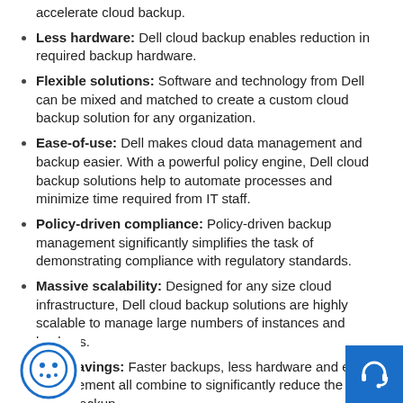Faster backups: Dell technology can significantly accelerate cloud backup.
Less hardware: Dell cloud backup enables reduction in required backup hardware.
Flexible solutions: Software and technology from Dell can be mixed and matched to create a custom cloud backup solution for any organization.
Ease-of-use: Dell makes cloud data management and backup easier. With a powerful policy engine, Dell cloud backup solutions help to automate processes and minimize time required from IT staff.
Policy-driven compliance: Policy-driven backup management significantly simplifies the task of demonstrating compliance with regulatory standards.
Massive scalability: Designed for any size cloud infrastructure, Dell cloud backup solutions are highly scalable to manage large numbers of instances and backups.
Cost savings: Faster backups, less hardware and easier management all combine to significantly reduce the cost of cloud backup.
[Figure (logo): Cookie/cloud logo icon in blue and white]
[Figure (other): Blue support/headset button icon]